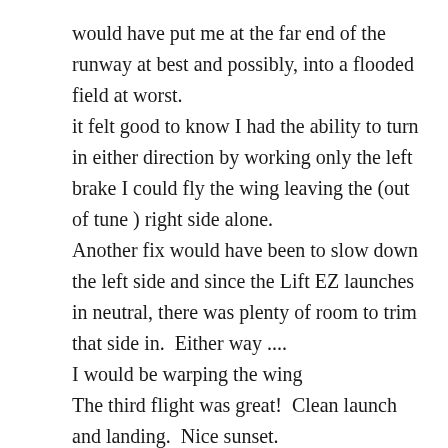would have put me at the far end of the runway at best and possibly, into a flooded field at worst. it felt good to know I had the ability to turn in either direction by working only the left brake I could fly the wing leaving the (out of tune ) right side alone. Another fix would have been to slow down the left side and since the Lift EZ launches in neutral, there was plenty of room to trim that side in.  Either way .... I would be warping the wing
The third flight was great!  Clean launch and landing.  Nice sunset.
Whatever the cause of the problem ... I should check the Tip Steering lines during future preflights.